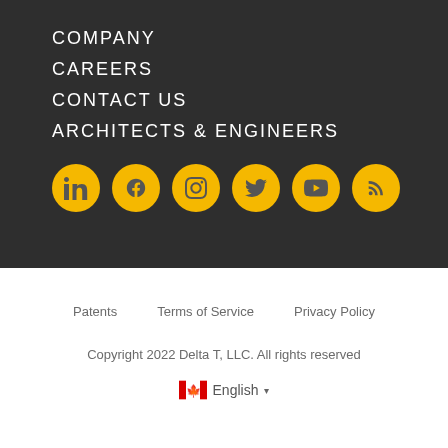COMPANY
CAREERS
CONTACT US
ARCHITECTS & ENGINEERS
[Figure (infographic): Row of 6 yellow circular social media icons: LinkedIn, Facebook, Instagram, Twitter, YouTube, RSS feed]
Patents     Terms of Service     Privacy Policy
Copyright 2022 Delta T, LLC. All rights reserved
English ▼